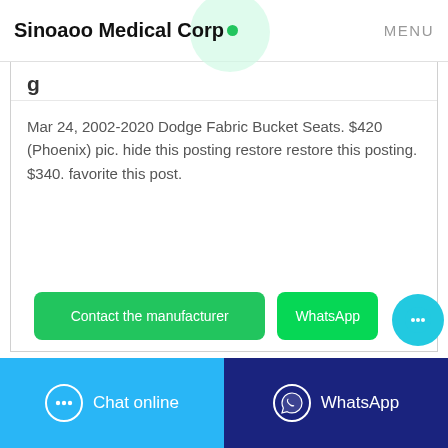Sinoaoo Medical Corp • MENU
Mar 24, 2002-2020 Dodge Fabric Bucket Seats. $420 (Phoenix) pic. hide this posting restore restore this posting. $340. favorite this post.
Contact the manufacturer
WhatsApp
Chat online
WhatsApp